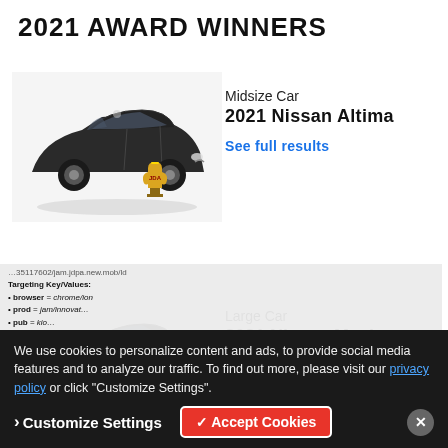2021 AWARD WINNERS
[Figure (photo): 2021 Nissan Altima dark grey sedan with award trophy]
Midsize Car
2021 Nissan Altima
See full results
[Figure (photo): 2021 Nissan Maxima dark grey sedan with award trophy]
Large Car
2021 Nissan Maxima
See full results
We use cookies to personalize content and ads, to provide social media features and to analyze our traffic. To find out more, please visit our privacy policy or click "Customize Settings".